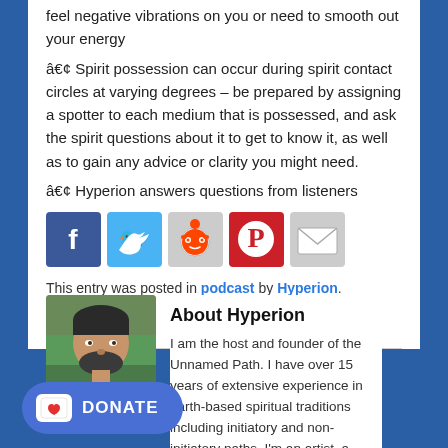• feel negative vibrations on you or need to smooth out your energy
• Spirit possession can occur during spirit contact circles at varying degrees – be prepared by assigning a spotter to each medium that is possessed, and ask the spirit questions about it to get to know it, as well as to gain any advice or clarity you might need.
• Hyperion answers questions from listeners
[Figure (infographic): Social media share buttons: Facebook, Twitter, Reddit, Pinterest, Email]
This entry was posted in podcast by Hyperion. Bookmark the permalink.
About Hyperion
[Figure (photo): Headshot photo of Hyperion, a bearded man in a blue shirt outdoors]
I am the host and founder of the Unnamed Path. I have over 15 years of extensive experience in earth-based spiritual traditions including initiatory and non-initiatory paths. I'm an artist, a shaman, an energy healer, a deathwalker and a magician. Feel free to read my bio to learn